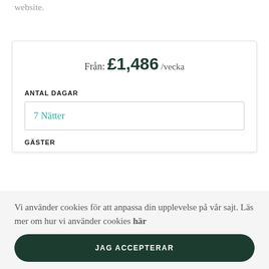website.
Från: £1,486 /vecka
ANTAL DAGAR
7 Nätter
GÄSTER
Vi använder cookies för att anpassa din upplevelse på vår sajt. Läs mer om hur vi använder cookies här
JAG ACCEPTERAR